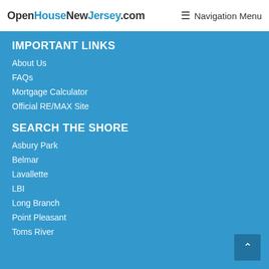OpenHouseNewJersey.com  ☰ Navigation Menu
IMPORTANT LINKS
About Us
FAQs
Mortgage Calculator
Official RE/MAX Site
SEARCH THE SHORE
Asbury Park
Belmar
Lavallette
LBI
Long Branch
Point Pleasant
Toms River